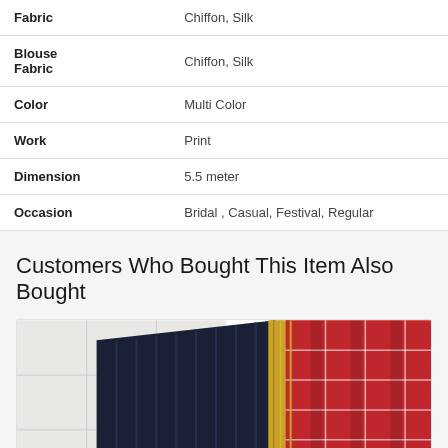| Attribute | Value |
| --- | --- |
| Fabric | Chiffon, Silk |
| Blouse Fabric | Chiffon, Silk |
| Color | Multi Color |
| Work | Print |
| Dimension | 5.5 meter |
| Occasion | Bridal , Casual, Festival, Regular |
Customers Who Bought This Item Also Bought
[Figure (photo): Product photo of a saree with dark navy blue body with stripes and red checked border with gold trim, laid flat on a white tiled surface.]